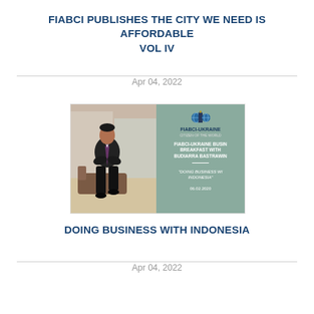FIABCI PUBLISHES THE CITY WE NEED IS AFFORDABLE VOL IV
Apr 04, 2022
[Figure (photo): Composite image: left half shows a man in a dark suit seated in a modern interior; right half shows a teal FIABCI-Ukraine event poster for a business breakfast with Budiarra Bastrawin on 'Doing Business with Indonesia' dated 06.02.2020]
DOING BUSINESS WITH INDONESIA
Apr 04, 2022